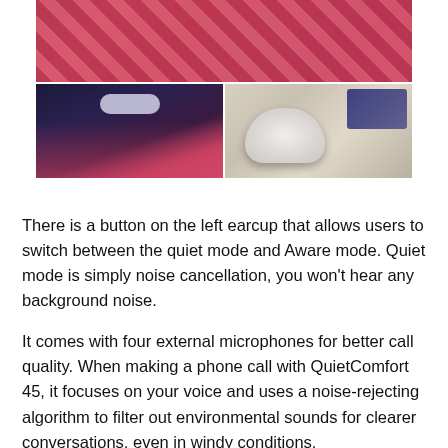[Figure (photo): A three-panel photo collage. Top panel shows a person in a checkered/argyle top against a red background. Bottom-left panel shows a person with long dark hair wearing white over-ear headphones in a dark gaming setup with red lighting. Bottom-right panel shows white Bose QuietComfort 45 headphones in a case on a desk with a laptop, coffee mug, and notebook.]
There is a button on the left earcup that allows users to switch between the quiet mode and Aware mode. Quiet mode is simply noise cancellation, you won't hear any background noise.
It comes with four external microphones for better call quality. When making a phone call with QuietComfort 45, it focuses on your voice and uses a noise-rejecting algorithm to filter out environmental sounds for clearer conversations, even in windy conditions.